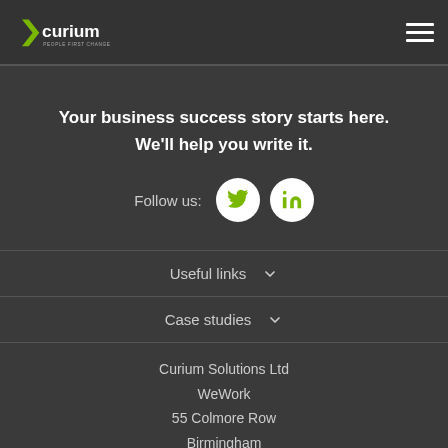[Figure (logo): Curium logo with green arrow and text 'curium PEOPLE FIRST CHANGE']
Your business success story starts here. We'll help you write it.
Follow us:
Useful links
Case studies
Curium Solutions Ltd
WeWork
55 Colmore Row
Birmingham
B3 2AA